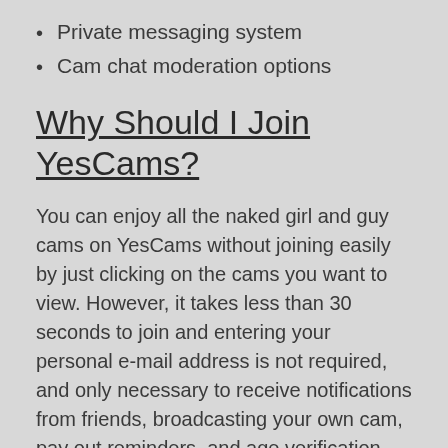Private messaging system
Cam chat moderation options
Why Should I Join YesCams?
You can enjoy all the naked girl and guy cams on YesCams without joining easily by just clicking on the cams you want to view. However, it takes less than 30 seconds to join and entering your personal e-mail address is not required, and only necessary to receive notifications from friends, broadcasting your own cam, pay out reminders, and age verification. By joining you will be able to use all of our options, be able to watch as many full screen sex cams as you want, and be able to chat with everyone.